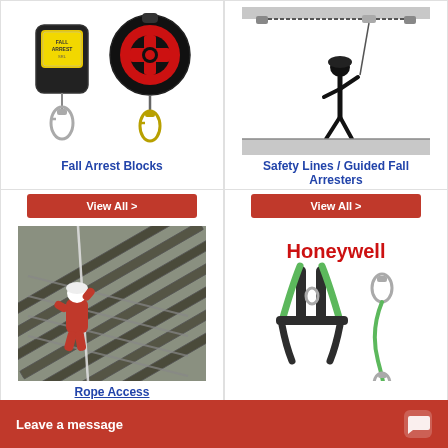[Figure (photo): Two fall arrest blocks/self-retracting lifelines — one yellow/black device and one black/red circular device, each with carabiner hooks]
Fall Arrest Blocks
[Figure (illustration): Diagram of a worker walking on a surface connected to a horizontal safety line/guided fall arrester system anchored at two ends]
Safety Lines / Guided Fall Arresters
View All >
View All >
[Figure (photo): Worker in red suit and white helmet doing rope access on a steep rooftop with metal rungs]
Rope Access
[Figure (photo): Honeywell branded safety harness and lanyard equipment on white background]
Leave a message